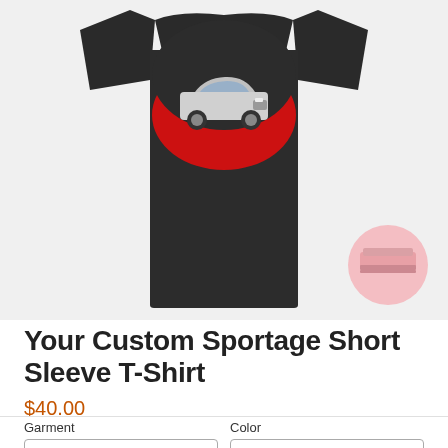[Figure (photo): A black custom t-shirt displayed flat, featuring a silver/white car graphic on a red semicircle design on the chest area. A small thumbnail badge with a pink circle and car graphic appears in the lower right of the image.]
Your Custom Sportage Short Sleeve T-Shirt
$40.00
Garment
Color